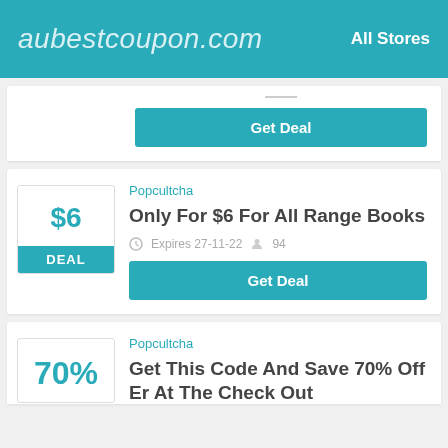aubestcoupon.com  All Stores
Get Deal
Popcultcha
Only For $6 For All Range Books
Expires 27-11-22  94
Get Deal
Popcultcha
Get This Code And Save 70% Off Er At The Check Out